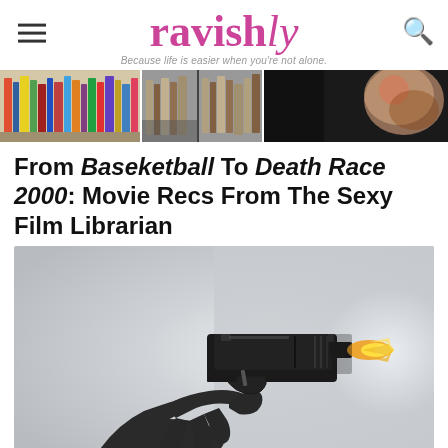ravishly — Because life is easier when you're not alone.
[Figure (photo): Banner composite of three images: bookshelf with colorful book spines, middle library/book section, and a dark image with tattooed arm]
From Baseketball To Death Race 2000: Movie Recs From The Sexy Film Librarian
[Figure (photo): A hand in a dark glove holding a black pistol firing, with a muzzle flash visible at the right, on a light grey gradient background]